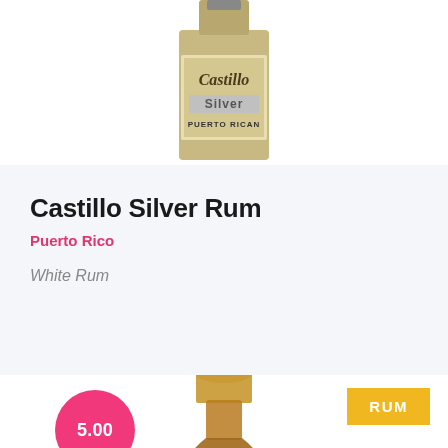[Figure (photo): Castillo Silver Puerto Rican rum bottle top portion, showing the label with 'Castillo Silver PUERTO RICAN' text]
Castillo Silver Rum
Puerto Rico
White Rum
[Figure (photo): Plantation Artisanal Infusion rum bottle, amber colored spirit, showing label and bottle shape]
5.00
RUM